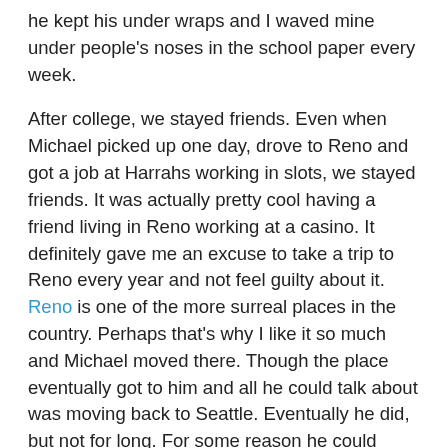he kept his under wraps and I waved mine under people's noses in the school paper every week.
After college, we stayed friends. Even when Michael picked up one day, drove to Reno and got a job at Harrahs working in slots, we stayed friends. It was actually pretty cool having a friend living in Reno working at a casino. It definitely gave me an excuse to take a trip to Reno every year and not feel guilty about it. Reno is one of the more surreal places in the country. Perhaps that's why I like it so much and Michael moved there. Though the place eventually got to him and all he could talk about was moving back to Seattle. Eventually he did, but not for long. For some reason he could never get a job in Seattle. So, he packed up a U-Haul and I helped him move back to Reno. That's where the photo above came from.
The best part about visiting Michael in Reno was our trips out on the desert to shoot produce and various items we'd pick up at the grocery store. We'd picked up the hobby from a guy Michael used to work with at Harrahs. We called him Saigon Joe because he'd been in the Vietnam war and liked